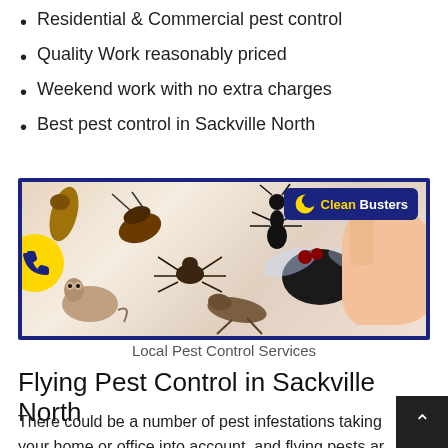Residential & Commercial pest control
Quality Work reasonably priced
Weekend work with no extra charges
Best pest control in Sackville North
[Figure (illustration): Clean Busters pest control banner showing various insects (cockroach, ant, fly, spider, mouse, cricket, larva) and a hand pointing, with the Clean Busters logo in top right corner and a yellow phone button on the left side.]
Local Pest Control Services
Flying Pest Control in Sackville North
There could be a number of pest infestations taking your home or office into account, and flying pests are one of them. Flying pests infestations may include